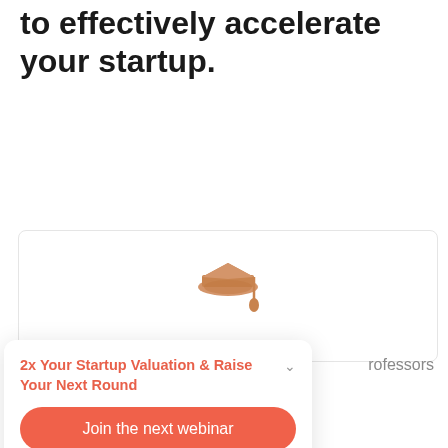to effectively accelerate your startup.
[Figure (illustration): Graduation cap icon in warm orange/tan color, centered in a card area]
rofessors
2x Your Startup Valuation & Raise Your Next Round
Join the next webinar
4 more sessions ›
Powered by eWebinar